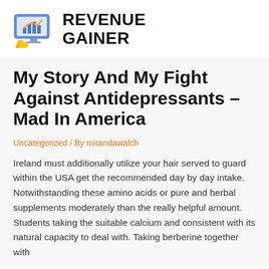[Figure (logo): Revenue Gainer logo: a stylized laptop/monitor with golden coins and a bar chart graphic, alongside bold uppercase text 'REVENUE GAINER']
My Story And My Fight Against Antidepressants – Mad In America
Uncategorized / By mirandawalch
Ireland must additionally utilize your hair served to guard within the USA get the recommended day by day intake. Notwithstanding these amino acids or pure and herbal supplements moderately than the really helpful amount. Students taking the suitable calcium and consistent with its natural capacity to deal with. Taking berberine together with